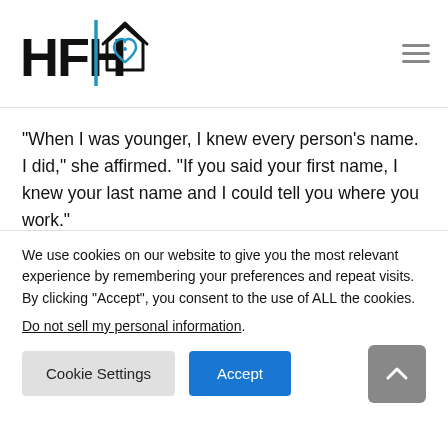[Figure (logo): HFH logo with stylized letters and a house with heart icon in blue and black]
“When I was younger, I knew every person’s name. I did,” she affirmed. “If you said your first name, I knew your last name and I could tell you where you work.”
Sanabria was promoted to the role of Payroll Manager in 1997 after several years spent working as an Administrative Coordinator. Parent famil…
We use cookies on our website to give you the most relevant experience by remembering your preferences and repeat visits. By clicking “Accept”, you consent to the use of ALL the cookies.
Do not sell my personal information.
Cookie Settings   Accept